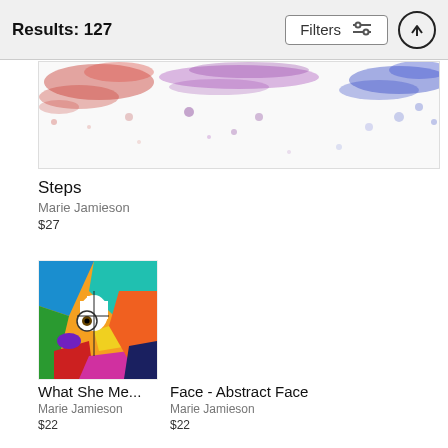Results: 127
[Figure (illustration): Partially visible abstract painting 'Steps' with red, blue, purple splatter on white background]
Steps
Marie Jamieson
$27
[Figure (illustration): Colorful abstract tribal/face artwork 'What She Me...' with orange, blue, green, yellow sections]
What She Me...
Marie Jamieson
$22
Face - Abstract Face
Marie Jamieson
$22